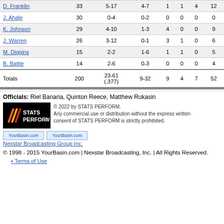| Player | MIN | FG | 3PT | REB | AST | STL | PTS |
| --- | --- | --- | --- | --- | --- | --- | --- |
| D. Franklin | 33 | 5-17 | 4-7 | 1 | 1 | 4 | 12 |
| J. Ahale | 30 | 0-4 | 0-2 | 0 | 0 | 0 | 0 |
| K. Johnson | 29 | 4-10 | 1-3 | 4 | 0 | 0 | 9 |
| J. Warren | 26 | 3-12 | 0-1 | 3 | 1 | 0 | 6 |
| M. Diggins | 15 | 2-2 | 1-6 | 1 | 1 | 0 | 5 |
| B. Battle | 14 | 2-6 | 0-3 | 0 | 0 | 0 | 4 |
| Totals | 200 | 23-61 (.377) | 9-32 | 9 | 4 | 7 | 52 |
Officials: Riel Banaria, Quinton Reece, Matthew Rukasin
[Figure (logo): STATS PERFORM logo - black background with colored slashes and white text]
© 2022 by STATS PERFORM. Any commercial use or distribution without the express written consent of STATS PERFORM is strictly prohibited.
YourBasin.com YourBasin.com Nexstar Broadcasting Group Inc.
© 1998 - 2015 YourBasin.com | Nexstar Broadcasting, Inc. | All Rights Reserved.
Terms of Use